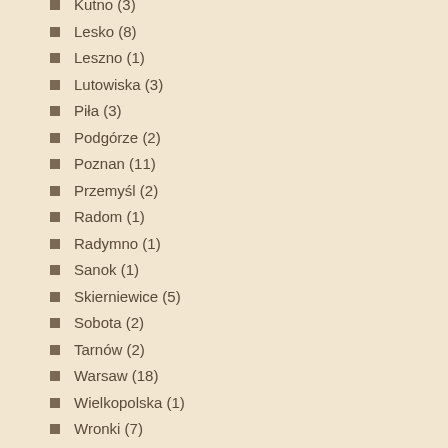Kutno (3)
Lesko (8)
Leszno (1)
Lutowiska (3)
Piła (3)
Podgórze (2)
Poznan (11)
Przemyśl (2)
Radom (1)
Radymno (1)
Sanok (1)
Skierniewice (5)
Sobota (2)
Tarnów (2)
Warsaw (18)
Wielkopolska (1)
Wronki (7)
Włocławek (17)
Zaslaw (2)